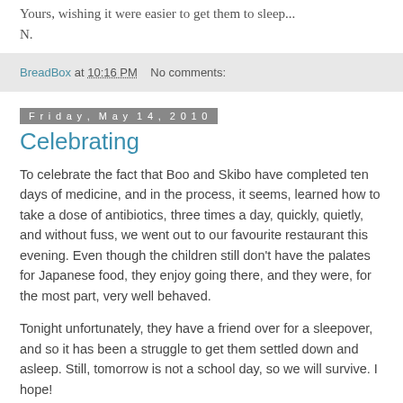Yours, wishing it were easier to get them to sleep...
N.
BreadBox at 10:16 PM   No comments:
Friday, May 14, 2010
Celebrating
To celebrate the fact that Boo and Skibo have completed ten days of medicine, and in the process, it seems, learned how to take a dose of antibiotics, three times a day, quickly, quietly, and without fuss, we went out to our favourite restaurant this evening.  Even though the children still don't have the palates for Japanese food, they enjoy going there, and they were, for the most part, very well behaved.
Tonight unfortunately, they have a friend over for a sleepover, and so it has been a struggle to get them settled down and asleep.  Still, tomorrow is not a school day, so we will survive.   I hope!